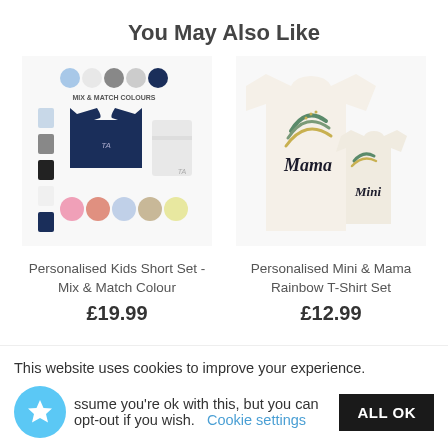You May Also Like
[Figure (photo): Personalised Kids Short Set - Mix & Match Colour product image showing t-shirts and shorts in various colours]
Personalised Kids Short Set - Mix & Match Colour
£19.99
[Figure (photo): Personalised Mini & Mama Rainbow T-Shirt Set product image showing two white t-shirts with Mama and Mini rainbow designs]
Personalised Mini & Mama Rainbow T-Shirt Set
£12.99
This website uses cookies to improve your experience. We'll assume you're ok with this, but you can opt-out if you wish.
Cookie settings
ALL OK